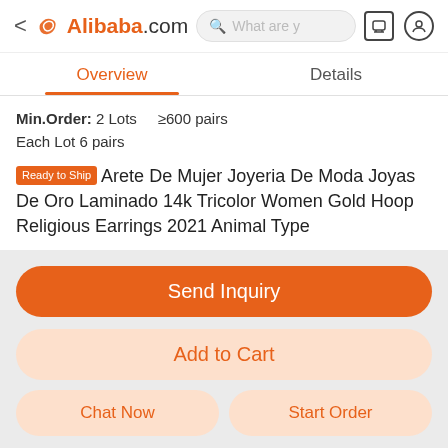Alibaba.com
Overview | Details
Min.Order: 2 Lots  ≥600 pairs
Each Lot 6 pairs
Ready to Ship Arete De Mujer Joyeria De Moda Joyas De Oro Laminado 14k Tricolor Women Gold Hoop Religious Earrings 2021 Animal Type
Send Inquiry
Add to Cart
Chat Now
Start Order
Trade Assurance